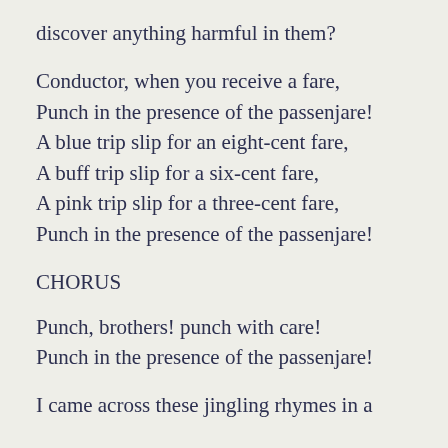discover anything harmful in them?
Conductor, when you receive a fare,
Punch in the presence of the passenjare!
A blue trip slip for an eight-cent fare,
A buff trip slip for a six-cent fare,
A pink trip slip for a three-cent fare,
Punch in the presence of the passenjare!
CHORUS
Punch, brothers! punch with care!
Punch in the presence of the passenjare!
I came across these jingling rhymes in a